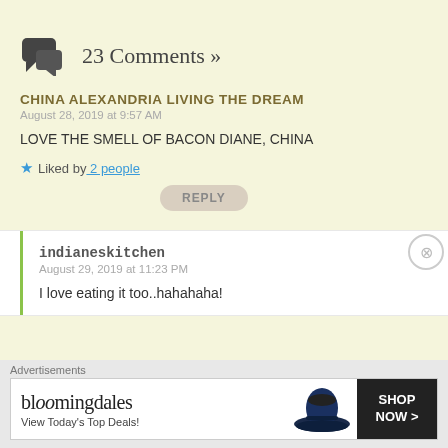23 Comments »
CHINA ALEXANDRIA LIVING THE DREAM
August 28, 2019 at 9:57 AM
LOVE THE SMELL OF BACON DIANE, CHINA
Liked by 2 people
REPLY
indianeskitchen
August 29, 2019 at 11:23 PM
I love eating it too..hahahaha!
[Figure (other): Bloomingdale's advertisement banner: 'View Today's Top Deals!' with SHOP NOW button and model wearing a large hat]